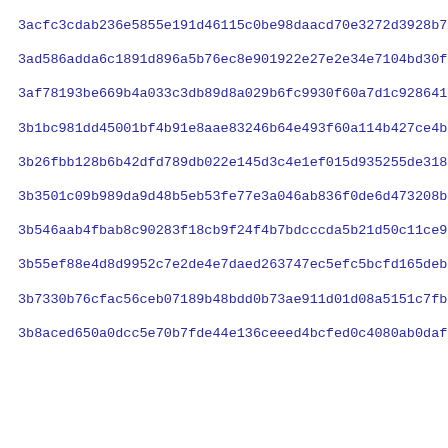3acfc3cdab236e5855e191d46115c0be98daacd70e3272d3928b7a71d9448
3ad586adda6c1891d896a5b76ec8e901922e27e2e34e7104bd30f131eacf3
3af78193be669b4a033c3db89d8a029b6fc9930f60a7d1c928641724ab268
3b1bc981dd45001bf4b91e8aae83246b64e493f60a114b427ce4b7c7611fc
3b26fbb128b6b42dfd789db022e145d3c4e1ef015d935255de3180cb16066
3b3501c09b989da9d48b5eb53fe77e3a046ab836f0de6d473208b49c03bbe
3b546aab4fbab8c90283f18cb9f24f4b7bdcccda5b21d50c11ce9325b0ea2
3b55ef88e4d8d9952c7e2de4e7daed263747ec5efc5bcfd165debd746d930
3b7330b76cfac56ceb07189b48bdd0b73ae911d01d08a5151c7fb38bde0c7
3b8aced650a0dcc5e70b7fde44e136ceeed4bcfed0c4080ab0dafe8776321